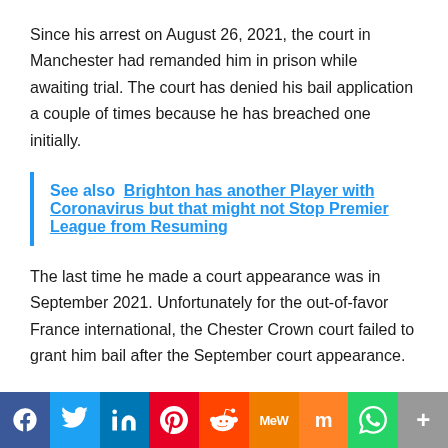Since his arrest on August 26, 2021, the court in Manchester had remanded him in prison while awaiting trial. The court has denied his bail application a couple of times because he has breached one initially.
See also  Brighton has another Player with Coronavirus but that might not Stop Premier League from Resuming
The last time he made a court appearance was in September 2021. Unfortunately for the out-of-favor France international, the Chester Crown court failed to grant him bail after the September court appearance.
[Figure (infographic): Social media share bar with icons for Facebook, Twitter, LinkedIn, Pinterest, Reddit, MeWe, Mix, WhatsApp, and More]